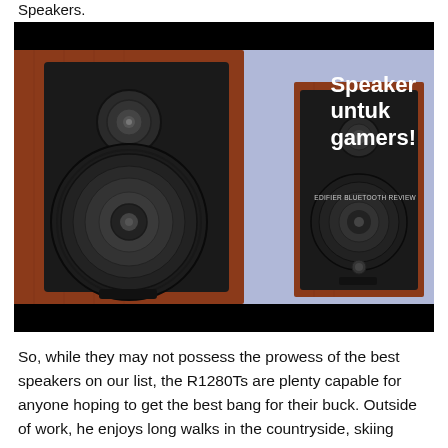Speakers.
[Figure (photo): Two wooden bookshelf speakers (Edifier R1280T style) photographed close-up against a light purple/blue background. The left speaker is large and dominant, showing a black woofer and tweeter. The right speaker is further away. White overlay text reads 'Speaker untuk gamers!' with small subtitle text below.]
So, while they may not possess the prowess of the best speakers on our list, the R1280Ts are plenty capable for anyone hoping to get the best bang for their buck. Outside of work, he enjoys long walks in the countryside, skiing